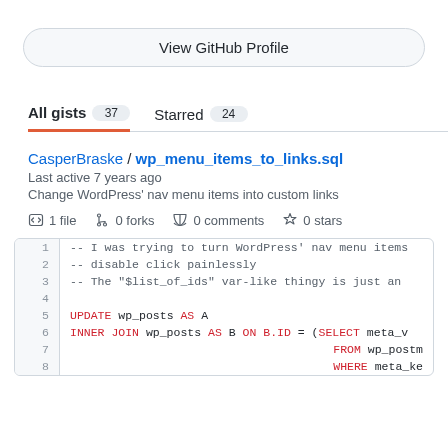View GitHub Profile
All gists 37   Starred 24
CasperBraske / wp_menu_items_to_links.sql
Last active 7 years ago
Change WordPress' nav menu items into custom links
1 file   0 forks   0 comments   0 stars
[Figure (screenshot): SQL code snippet showing lines 1-8 of wp_menu_items_to_links.sql with syntax highlighting. Comments in gray, keywords UPDATE, INNER JOIN, AS, ON, B.ID, SELECT, FROM, WHERE in red/blue.]